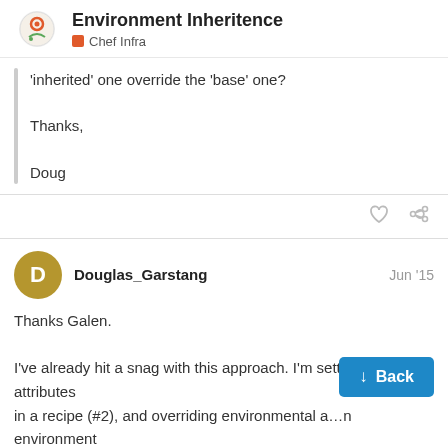Environment Inheritence
Chef Infra
'inherited' one override the 'base' one?

Thanks,

Doug
Douglas_Garstang  Jun '15
Thanks Galen.

I've already hit a snag with this approach. I'm setting common attributes
in a recipe (#2), and overriding environmental a... in environment
(#12). However, I have a cookbook that ne...
attribute.